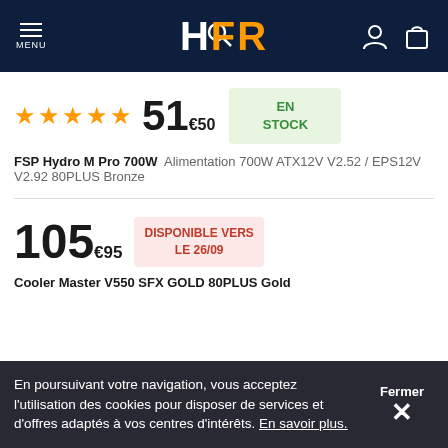HFR
★★★★★  51€50  EN STOCK
FSP Hydro M Pro 700W  Alimentation 700W ATX12V V2.52 / EPS12V V2.92 80PLUS Bronze
105€95  DISPONIBLE VERS LE 26/09
Cooler Master V550 SFX GOLD 80PLUS Gold
En poursuivant votre navigation, vous acceptez l'utilisation des cookies pour disposer de services et d'offres adaptés à vos centres d'intérêts. En savoir plus. Fermer ×